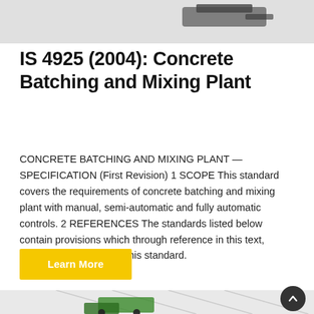[Figure (photo): Top portion of a construction/industrial machine on grey background]
IS 4925 (2004): Concrete Batching and Mixing Plant
CONCRETE BATCHING AND MIXING PLANT — SPECIFICATION (First Revision) 1 SCOPE This standard covers the requirements of concrete batching and mixing plant with manual, semi-automatic and fully automatic controls. 2 REFERENCES The standards listed below contain provisions which through reference in this text, constitute provisions of this standard.
[Figure (photo): Green construction vehicle/dumper truck inside a building with skylight ceiling, partially visible at bottom of page]